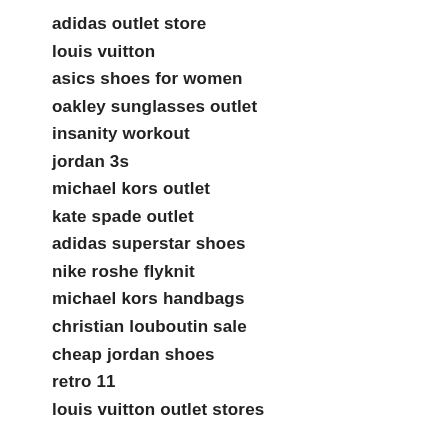adidas outlet store
louis vuitton
asics shoes for women
oakley sunglasses outlet
insanity workout
jordan 3s
michael kors outlet
kate spade outlet
adidas superstar shoes
nike roshe flyknit
michael kors handbags
christian louboutin sale
cheap jordan shoes
retro 11
louis vuitton outlet stores